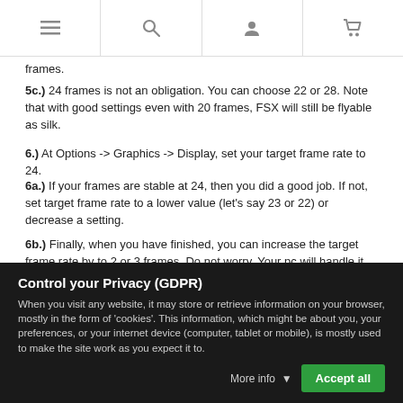[navigation icons: menu, search, user, cart]
frames.
5c.) 24 frames is not an obligation. You can choose 22 or 28. Note that with good settings even with 20 frames, FSX will still be flyable as silk.
6.) At Options -> Graphics -> Display, set your target frame rate to 24.
6a.) If your frames are stable at 24, then you did a good job. If not, set target frame rate to a lower value (let's say 23 or 22) or decrease a setting.
6b.) Finally, when you have finished, you can increase the target frame rate by to 2 or 3 frames. Do not worry. Your pc will handle it.
You have achieved to have the max settings your pc can handle with FFTF value of 0.01. If you close the FFTF dynamic application or set the low FFTF value to 2.33, then you will see a frame drop.
Control your Privacy (GDPR)
When you visit any website, it may store or retrieve information on your browser, mostly in the form of 'cookies'. This information, which might be about you, your preferences, or your internet device (computer, tablet or mobile), is mostly used to make the site work as you expect it to.
More info  Accept all